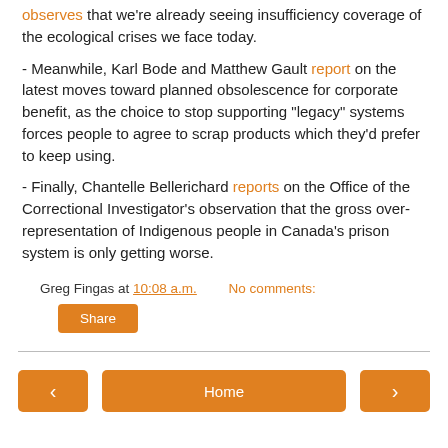observes that we're already seeing insufficiency coverage of the ecological crises we face today.
- Meanwhile, Karl Bode and Matthew Gault report on the latest moves toward planned obsolescence for corporate benefit, as the choice to stop supporting "legacy" systems forces people to agree to scrap products which they'd prefer to keep using.
- Finally, Chantelle Bellerichard reports on the Office of the Correctional Investigator's observation that the gross over-representation of Indigenous people in Canada's prison system is only getting worse.
Greg Fingas at 10:08 a.m.   No comments:
Share
< Home >